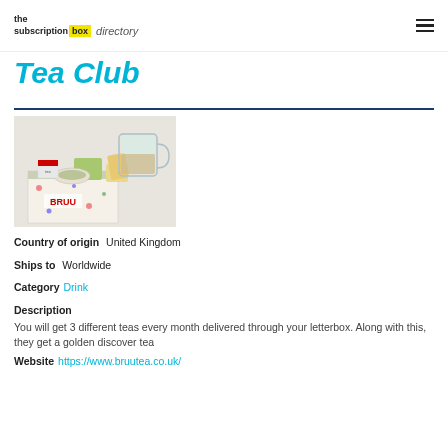the subscription box directory
Tea Club
[Figure (photo): Photo of BRUU tea subscription box contents: tea bags, packets, and a glass mug with tea on a table]
Country of origin   United Kingdom
Ships to   Worldwide
Category   Drink
Description
You will get 3 different teas every month delivered through your letterbox. Along with this, they get a golden discover tea
Website   https://www.bruutea.co.uk/